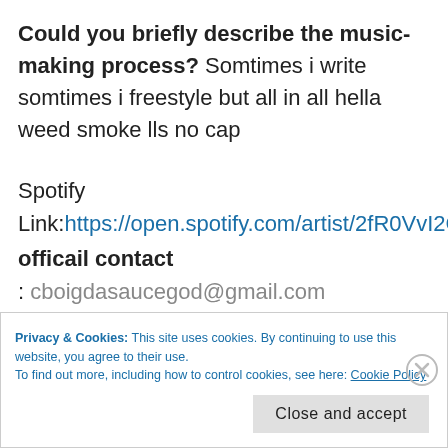Could you briefly describe the music-making process? Somtimes i write somtimes i freestyle but all in all hella weed smoke lls no cap
Spotify
Link: https://open.spotify.com/artist/2fR0VvI2GlW
officail contact
: cboigdasaucegod@gmail.com
Privacy & Cookies: This site uses cookies. By continuing to use this website, you agree to their use.
To find out more, including how to control cookies, see here: Cookie Policy